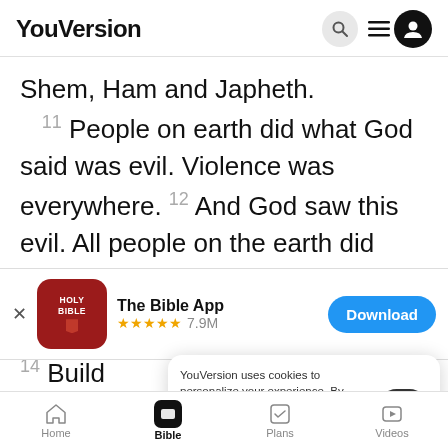YouVersion
Shem, Ham and Japheth. 11 People on earth did what God said was evil. Violence was everywhere. 12 And God saw this evil. All people on the earth did only evil. 13 So God
[Figure (screenshot): The Bible App download banner with Holy Bible app icon, star rating 7.9M, and Download button]
14 Build rooms i 15 Thi... build the boat 450
YouVersion uses cookies to personalize your experience. By using our website, you accept our use of cookies as described in our Privacy Policy.
Home  Bible  Plans  Videos